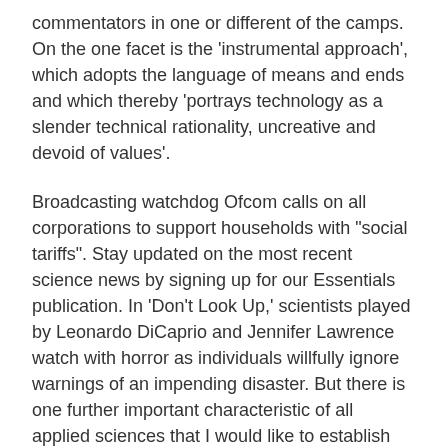commentators in one or different of the camps. On the one facet is the 'instrumental approach', which adopts the language of means and ends and which thereby 'portrays technology as a slender technical rationality, uncreative and devoid of values'.
Broadcasting watchdog Ofcom calls on all corporations to support households with "social tariffs". Stay updated on the most recent science news by signing up for our Essentials publication. In 'Don't Look Up,' scientists played by Leonardo DiCaprio and Jennifer Lawrence watch with horror as individuals willfully ignore warnings of an impending disaster. But there is one further important characteristic of all applied sciences that I would like to establish and emphasize. Since it's a feature of all applied sciences, it's not an addition, a narrowing or a broadening, of the definition, nevertheless it does say one thing vital about what applied sciences do. Blockchain Decoded A take a glance at the tech powering bitcoin – and soon myriad companies that can change your